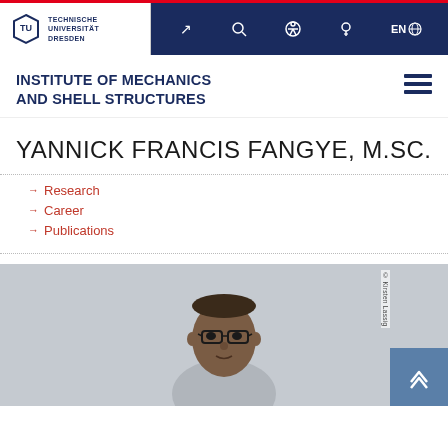Technische Universität Dresden — navigation bar with logo and icons
INSTITUTE OF MECHANICS AND SHELL STRUCTURES
YANNICK FRANCIS FANGYE, M.SC.
Research
Career
Publications
[Figure (photo): Portrait photo of Yannick Francis Fangye, a man wearing glasses, with a light grey background. Copyright: Kirsten Lassig.]